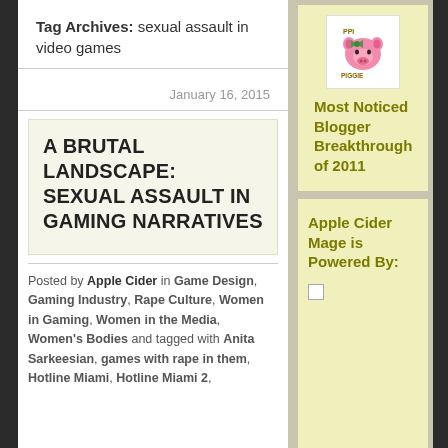Tag Archives: sexual assault in video games
January 16, 2015
A BRUTAL LANDSCAPE: SEXUAL ASSAULT IN GAMING NARRATIVES
Posted by Apple Cider in Game Design, Gaming Industry, Rape Culture, Women in Gaming, Women in the Media, Women's Bodies and tagged with Anita Sarkeesian, games with rape in them, Hotline Miami, Hotline Miami 2,
[Figure (logo): PPI PIGGIE blog logo - cartoon pink pig with green bow]
Most Noticed Blogger Breakthrough of 2011
Apple Cider Mage is Powered By: